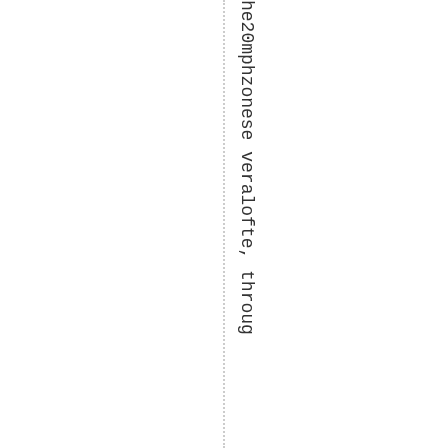he20mphzonese veralofte, throug